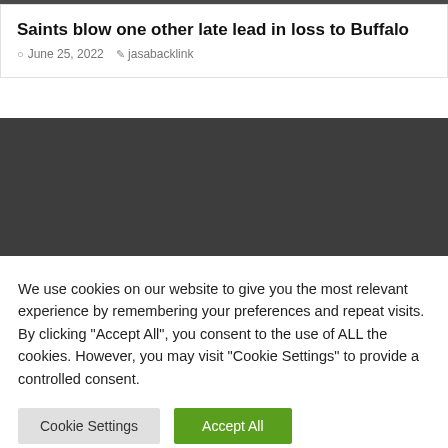Saints blow one other late lead in loss to Buffalo
June 25, 2022   jasabacklink
[Figure (photo): Dark/black rectangular image block placeholder]
We use cookies on our website to give you the most relevant experience by remembering your preferences and repeat visits. By clicking “Accept All”, you consent to the use of ALL the cookies. However, you may visit "Cookie Settings" to provide a controlled consent.
Cookie Settings   Accept All